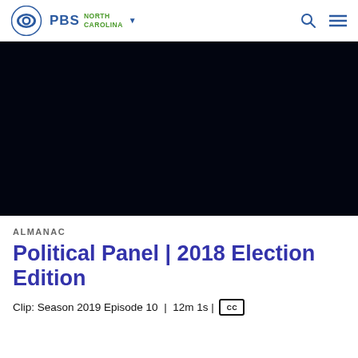PBS North Carolina
[Figure (screenshot): Dark/black video player area for PBS North Carolina video content]
ALMANAC
Political Panel | 2018 Election Edition
Clip: Season 2019 Episode 10 | 12m 1s | [CC]